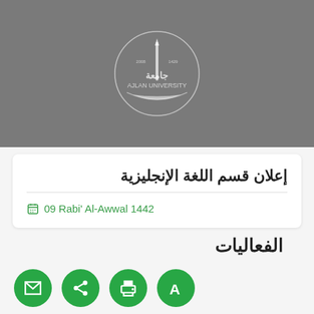[Figure (logo): Ajlan University circular logo with Arabic calligraphy and text 'AJLAN UNIVERSITY' on a gray banner background]
إعلان قسم اللغة الإنجليزية
09 Rabi' Al-Awwal 1442
الفعاليات